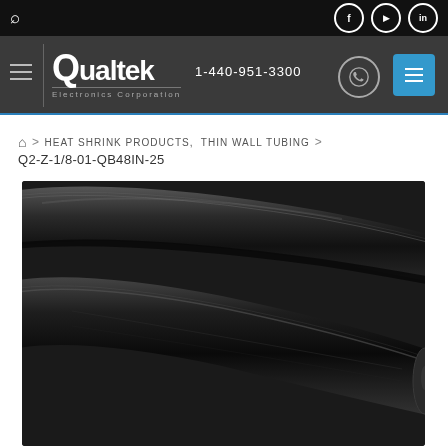Qualtek Electronics Corporation — 1-440-951-3300
HEAT SHRINK PRODUCTS, THIN WALL TUBING
Q2-Z-1/8-01-QB48IN-25
[Figure (photo): Black heat shrink tubing product photo showing two pieces of black polyolefin thin wall heat shrink tubing on a dark background]